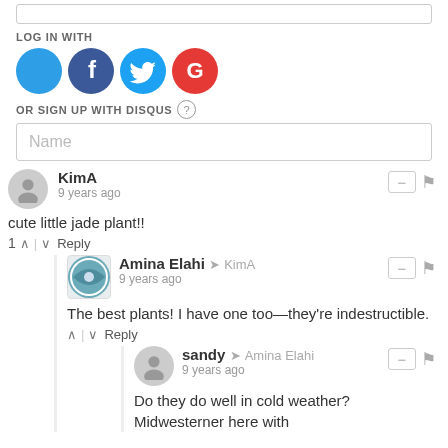LOG IN WITH
[Figure (infographic): Social login icons: Disqus (blue D), Facebook (dark blue F), Twitter (light blue bird), Google (red G)]
OR SIGN UP WITH DISQUS ?
Name
KimA
9 years ago
cute little jade plant!!
1 ^ | v Reply
Amina Elahi → KimA
9 years ago
The best plants! I have one too—they're indestructible.
^ | v Reply
sandy → Amina Elahi
9 years ago
Do they do well in cold weather? Midwesterner here with